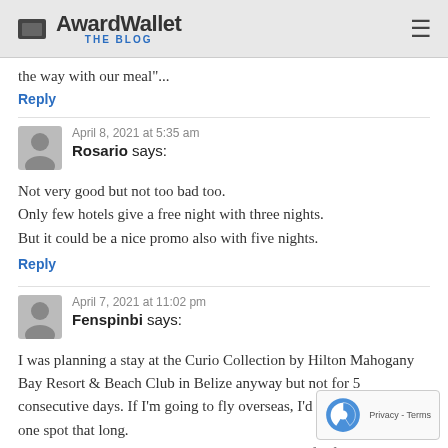AwardWallet THE BLOG
the way with our meal"...
Reply
April 8, 2021 at 5:35 am
Rosario says:
Not very good but not too bad too.
Only few hotels give a free night with three nights.
But it could be a nice promo also with five nights.
Reply
April 7, 2021 at 11:02 pm
Fenspinbi says:
I was planning a stay at the Curio Collection by Hilton Mahogany Bay Resort & Beach Club in Belize anyway but not for 5 consecutive days. If I'm going to fly overseas, I'd be loathe to stay in one spot that long. Sounds good on paper, but the promo is only useful for